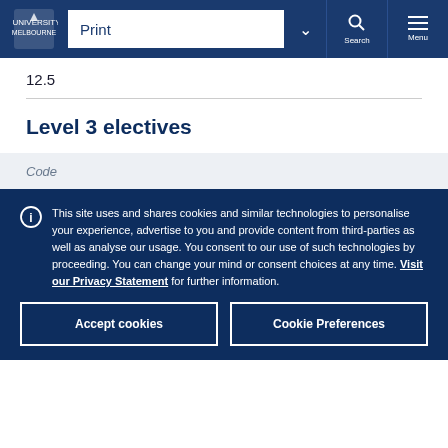Print | Search | Menu
12.5
Level 3 electives
| Code |
| --- |
This site uses and shares cookies and similar technologies to personalise your experience, advertise to you and provide content from third-parties as well as analyse our usage. You consent to our use of such technologies by proceeding. You can change your mind or consent choices at any time. Visit our Privacy Statement for further information.
Accept cookies
Cookie Preferences